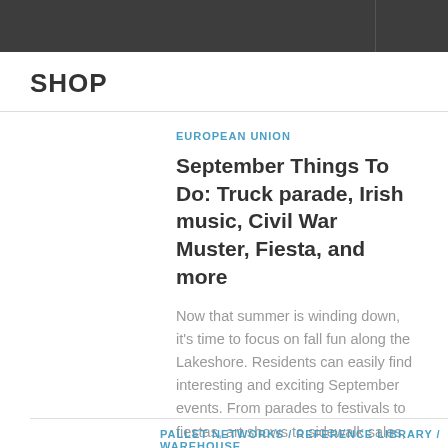SHOP
EUROPEAN UNION
September Things To Do: Truck parade, Irish music, Civil War Muster, Fiesta, and more
Now that summer is winding down, it’s time to focus on fall fun along the Lakeshore. Residents can easily find interesting and exciting September events. From parades to festivals to fiestas, art shows to sidewalk sales, and 5Ks to fairs, there are ple...
PALLET NETWORKS / REFERENCE LIBRARY / WAREHOUSE